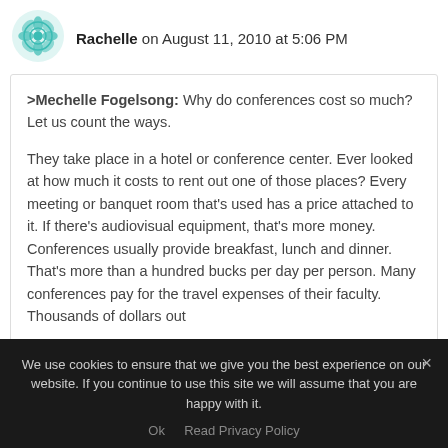Rachelle on August 11, 2010 at 5:06 PM
>Mechelle Fogelsong: Why do conferences cost so much? Let us count the ways.

They take place in a hotel or conference center. Ever looked at how much it costs to rent out one of those places? Every meeting or banquet room that's used has a price attached to it. If there's audiovisual equipment, that's more money. Conferences usually provide breakfast, lunch and dinner. That's more than a hundred bucks per day per person. Many conferences pay for the travel expenses of their faculty. Thousands of dollars out
We use cookies to ensure that we give you the best experience on our website. If you continue to use this site we will assume that you are happy with it.
Ok   Read Privacy Policy